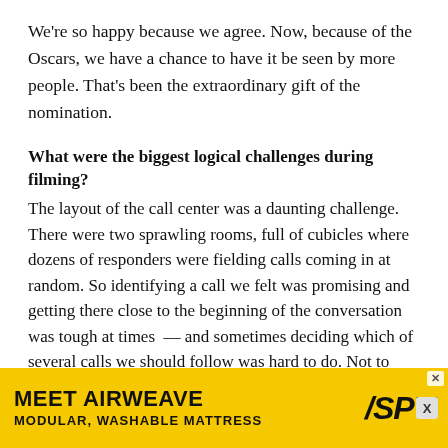We're so happy because we agree. Now, because of the Oscars, we have a chance to have it be seen by more people. That's been the extraordinary gift of the nomination.
What were the biggest logical challenges during filming?
The layout of the call center was a daunting challenge. There were two sprawling rooms, full of cubicles where dozens of responders were fielding calls coming in at random. So identifying a call we felt was promising and getting there close to the beginning of the conversation was tough at times — and sometimes deciding which of several calls we should follow was hard to do. Not to mention the challenge of filming In cubicles that are not well lit. And then there were times where the emergency coordinator working with the responder was down the hall – which eventually necessitated the use of a second camera, and made the scene tougher to direct but ultimately, more satisfying. It was just a bear to shoot
[Figure (infographic): Advertisement banner for Airweave: 'MEET AIRWEAVE – MODULAR, WASHABLE MATTRESS' with SPY logo on yellow background]